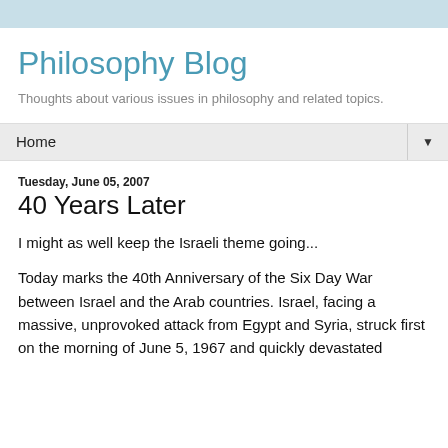Philosophy Blog
Thoughts about various issues in philosophy and related topics.
Home
Tuesday, June 05, 2007
40 Years Later
I might as well keep the Israeli theme going...
Today marks the 40th Anniversary of the Six Day War between Israel and the Arab countries. Israel, facing a massive, unprovoked attack from Egypt and Syria, struck first on the morning of June 5, 1967 and quickly devastated